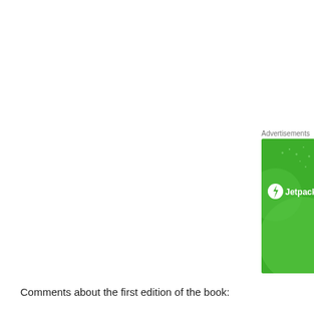Advertisements
[Figure (illustration): Jetpack advertisement banner — green background with large decorative circles and Jetpack logo (white lightning bolt in circle) with text 'Jetpack']
Comments about the first edition of the book:
From Captain Bill Nash, who flew for Pan Am August 1942 – June 1977
“As a Pan Am pilot for 35 years (34 yrs as Captain) I thoroughly enjoyed yo... way you did it with items familiar to me, such as varied baggage strap tags, schedules, annual reports, progressive aircraft photos (external and interna...
Privacy & Cookies: This site uses cookies. By continuing to use this website, you agree to their use.
To find out more, including how to control cookies, see here: Cookie Policy
Close and accept